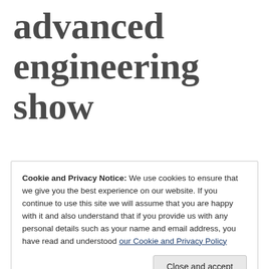advanced engineering show
Cookie and Privacy Notice: We use cookies to ensure that we give you the best experience on our website. If you continue to use this site we will assume that you are happy with it and also understand that if you provide us with any personal details such as your name and email address, you have read and understood our Cookie and Privacy Policy